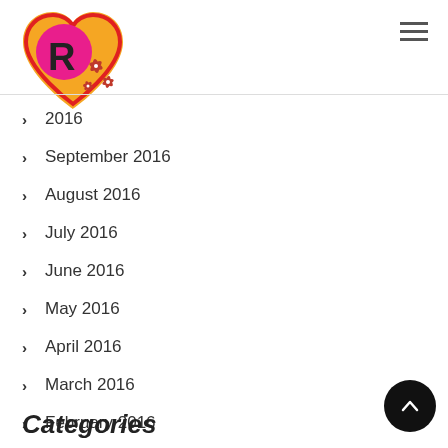[Figure (logo): Heart-shaped logo with orange/red heart, pink circle with R letter, and red floral decorations]
[Figure (other): Hamburger menu icon (three horizontal lines)]
2016
September 2016
August 2016
July 2016
June 2016
May 2016
April 2016
March 2016
February 2016
Categories